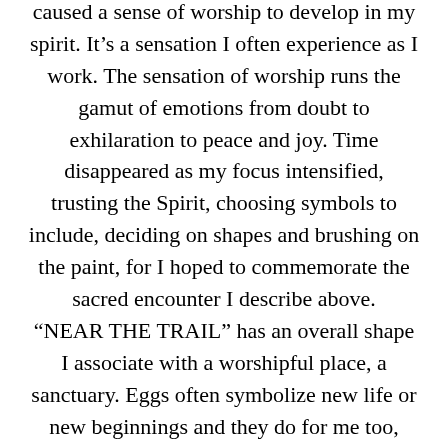caused a sense of worship to develop in my spirit. It's a sensation I often experience as I work. The sensation of worship runs the gamut of emotions from doubt to exhilaration to peace and joy. Time disappeared as my focus intensified, trusting the Spirit, choosing symbols to include, deciding on shapes and brushing on the paint, for I hoped to commemorate the sacred encounter I describe above. “NEAR THE TRAIL” has an overall shape I associate with a worshipful place, a sanctuary. Eggs often symbolize new life or new beginnings and they do for me too, along with other varieties of newness. The delicate green leaves in the upper part are an additional symbol of newness and growth.